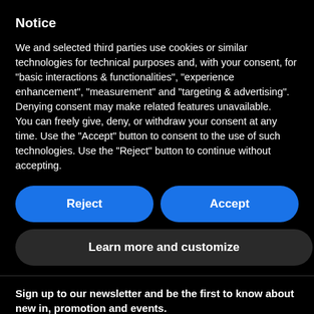Notice
We and selected third parties use cookies or similar technologies for technical purposes and, with your consent, for “basic interactions & functionalities”, “experience enhancement”, “measurement” and “targeting & advertising”. Denying consent may make related features unavailable.
You can freely give, deny, or withdraw your consent at any time. Use the “Accept” button to consent to the use of such technologies. Use the “Reject” button to continue without accepting.
Reject
Accept
Learn more and customize
Sign up to our newsletter and be the first to know about new in, promotion and events.